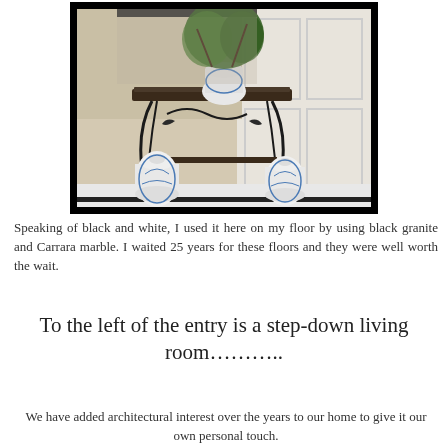[Figure (photo): An ornate wrought iron console table with a dark marble top, decorated with two blue and white Chinese ginger jars on the floor beside it and a large blue and white vase with greenery on top. The background shows white wainscoting paneling and wallpaper. The floor appears to be black and white marble.]
Speaking of black and white, I used it here on my floor by using black granite and Carrara marble. I waited 25 years for these floors and they were well worth the wait.
To the left of the entry is a step-down living room………..
We have added architectural interest over the years to our home to give it our own personal touch.